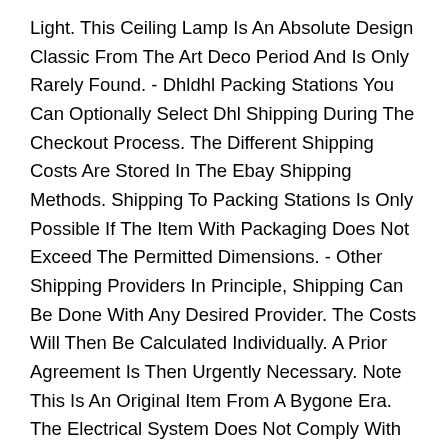Light. This Ceiling Lamp Is An Absolute Design Classic From The Art Deco Period And Is Only Rarely Found. - Dhldhl Packing Stations You Can Optionally Select Dhl Shipping During The Checkout Process. The Different Shipping Costs Are Stored In The Ebay Shipping Methods. Shipping To Packing Stations Is Only Possible If The Item With Packaging Does Not Exceed The Permitted Dimensions. - Other Shipping Providers In Principle, Shipping Can Be Done With Any Desired Provider. The Costs Will Then Be Calculated Individually. A Prior Agreement Is Then Urgently Necessary. Note This Is An Original Item From A Bygone Era. The Electrical System Does Not Comply With The A.